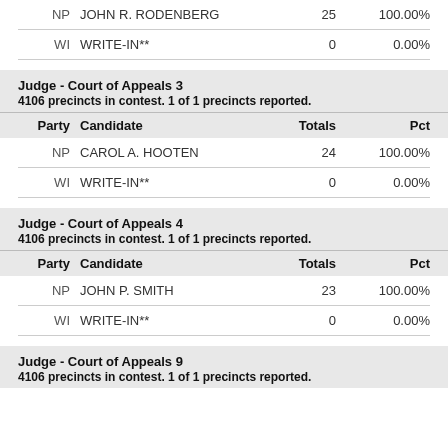| Party | Candidate | Totals | Pct |
| --- | --- | --- | --- |
| NP | JOHN R. RODENBERG | 25 | 100.00% |
| WI | WRITE-IN** | 0 | 0.00% |
Judge - Court of Appeals 3
4106 precincts in contest. 1 of 1 precincts reported.
| Party | Candidate | Totals | Pct |
| --- | --- | --- | --- |
| NP | CAROL A. HOOTEN | 24 | 100.00% |
| WI | WRITE-IN** | 0 | 0.00% |
Judge - Court of Appeals 4
4106 precincts in contest. 1 of 1 precincts reported.
| Party | Candidate | Totals | Pct |
| --- | --- | --- | --- |
| NP | JOHN P. SMITH | 23 | 100.00% |
| WI | WRITE-IN** | 0 | 0.00% |
Judge - Court of Appeals 9
4106 precincts in contest. 1 of 1 precincts reported.